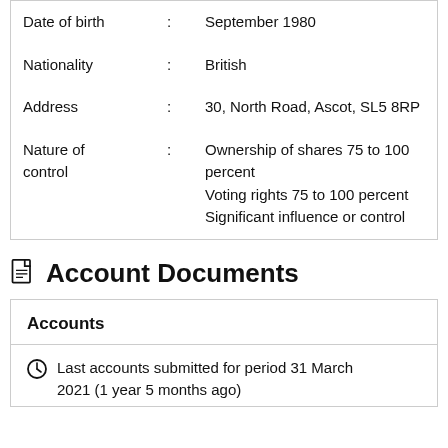| Date of birth | : | September 1980 |
| Nationality | : | British |
| Address | : | 30, North Road, Ascot, SL5 8RP |
| Nature of control | : | Ownership of shares 75 to 100 percent
Voting rights 75 to 100 percent
Significant influence or control |
Account Documents
| Accounts |
| --- |
| Last accounts submitted for period 31 March 2021 (1 year 5 months ago) |